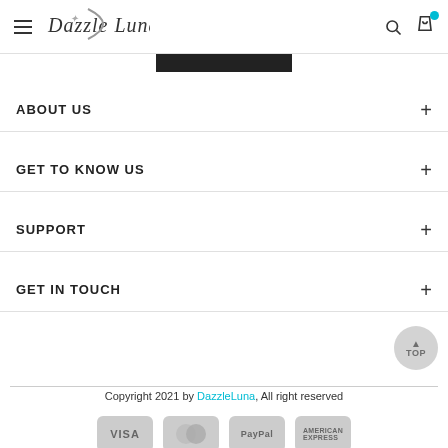Dazzle Luna - navigation header with hamburger menu, logo, search and cart icons
ABOUT US
GET TO KNOW US
SUPPORT
GET IN TOUCH
Copyright 2021 by DazzleLuna, All right reserved
[Figure (logo): Payment method logos: VISA, Mastercard, PayPal, American Express]